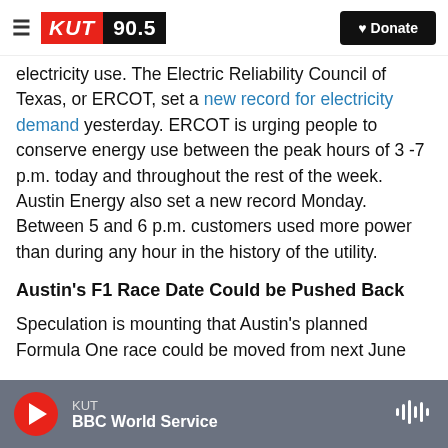KUT 90.5 | Donate
electricity use. The Electric Reliability Council of Texas, or ERCOT, set a new record for electricity demand yesterday. ERCOT is urging people to conserve energy use between the peak hours of 3 -7 p.m. today and throughout the rest of the week. Austin Energy also set a new record Monday. Between 5 and 6 p.m. customers used more power than during any hour in the history of the utility.
Austin's F1 Race Date Could be Pushed Back
Speculation is mounting that Austin's planned Formula One race could be moved from next June
KUT | BBC World Service